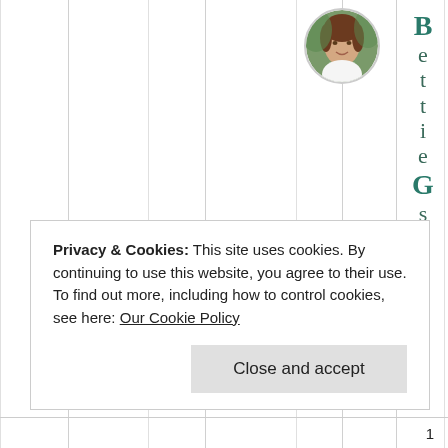[Figure (photo): Circular profile photo of a woman with brown hair, outdoors with green foliage background]
BettieGsept
Privacy & Cookies: This site uses cookies. By continuing to use this website, you agree to their use.
To find out more, including how to control cookies, see here: Our Cookie Policy
Close and accept
1